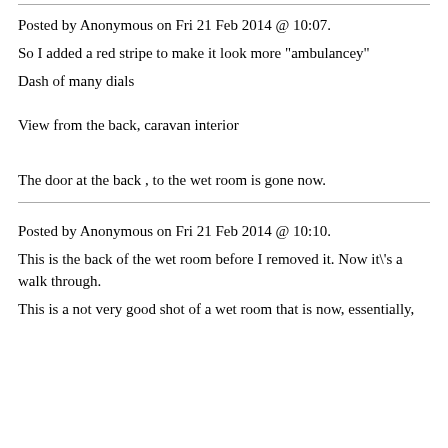Posted by Anonymous on Fri 21 Feb 2014 @ 10:07.
So I added a red stripe to make it look more "ambulancey"
Dash of many dials
View from the back, caravan interior
The door at the back , to the wet room is gone now.
Posted by Anonymous on Fri 21 Feb 2014 @ 10:10.
This is the back of the wet room before I removed it. Now it\'s a walk through.
This is a not very good shot of a wet room that is now, essentially,